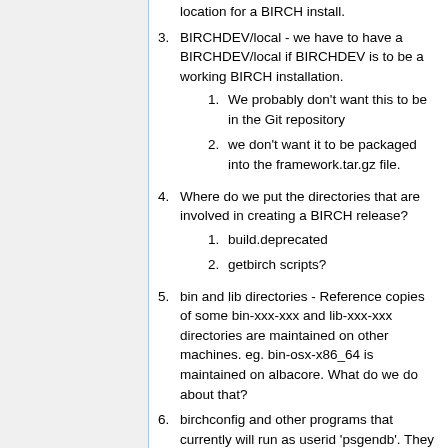location for a BIRCH install.
BIRCHDEV/local - we have to have a BIRCHDEV/local if BIRCHDEV is to be a working BIRCH installation.
We probably don't want this to be in the Git repository
we don't want it to be packaged into the framework.tar.gz file.
Where do we put the directories that are involved in creating a BIRCH release?
build.deprecated
getbirch scripts?
bin and lib directories - Reference copies of some bin-xxx-xxx and lib-xxx-xxx directories are maintained on other machines. eg. bin-osx-x86_64 is maintained on albacore. What do we do about that?
birchconfig and other programs that currently will run as userid 'psgendb'. They will have to be changed so that...